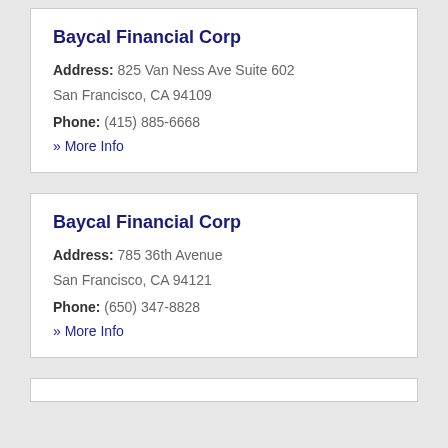Baycal Financial Corp
Address: 825 Van Ness Ave Suite 602 San Francisco, CA 94109
Phone: (415) 885-6668
» More Info
Baycal Financial Corp
Address: 785 36th Avenue San Francisco, CA 94121
Phone: (650) 347-8828
» More Info